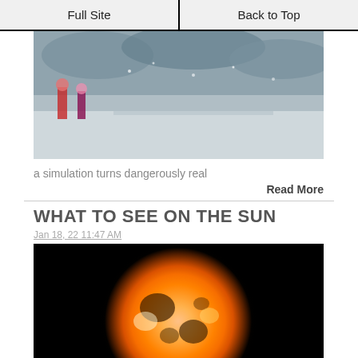Full Site | Back to Top
[Figure (photo): A stormy, wintery outdoor scene with people and snow/ice]
a simulation turns dangerously real
Read More
WHAT TO SEE ON THE SUN
Jan 18, 22 11:47 AM
[Figure (photo): A glowing orange and yellow image of the sun against a black background]
The solar scene
Read More
OORANYE - MARS